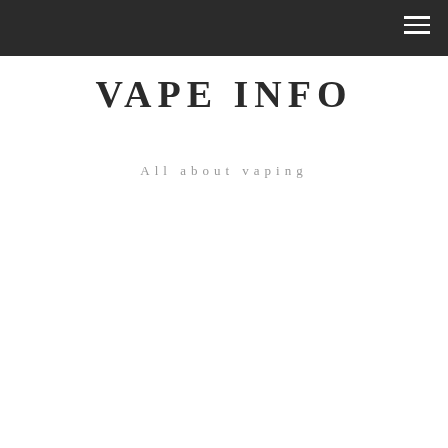VAPE INFO — navigation header with hamburger menu
VAPE INFO
All about vaping
About Vapes
Why Does My Vape Keep Saying Check